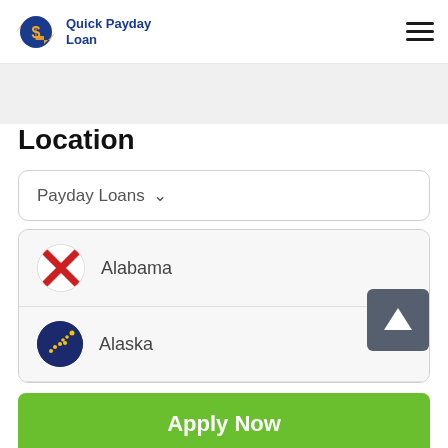Quick Payday Loan
Location
Payday Loans ∨
Alabama
Alaska
Apply Now
Applying does NOT affect your credit score!
No credit check to apply.